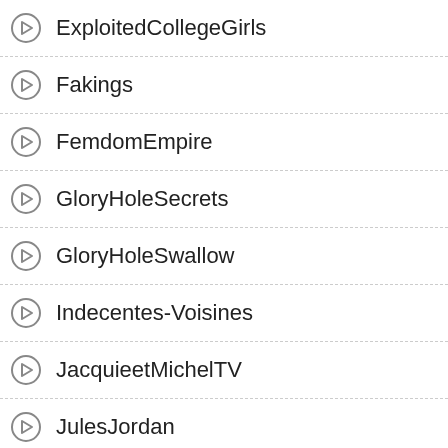ExploitedCollegeGirls
Fakings
FemdomEmpire
GloryHoleSecrets
GloryHoleSwallow
Indecentes-Voisines
JacquieetMichelTV
JulesJordan
Killergram
LaFRANCEaPoil
LegalPorno
MrPOV
MyDirtyHobby
NoBoring
PegasProductions
PlumperPass
Angela White - W
[Figure (photo): Partial view of a photo showing a white bottle and black equipment in a room with blue floor, skin visible at bottom.]